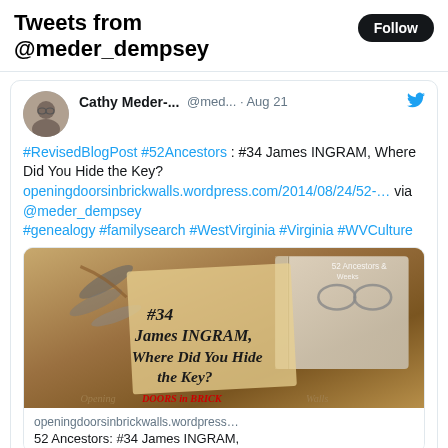Tweets from @meder_dempsey
Cathy Meder-... @med... · Aug 21
#RevisedBlogPost #52Ancestors : #34 James INGRAM, Where Did You Hide the Key?
openingdoorsinbrickwalls.wordpress.com/2014/08/24/52-... via @meder_dempsey #genealogy #familysearch #WestVirginia #Virginia #WVCulture
[Figure (screenshot): Blog post image showing antique keys, an old book with glasses, and aged paper with the text '#34 James INGRAM, Where Did You Hide the Key?' and 'Opening Doors in Brick Walls' overlay]
openingdoorsinbrickwalls.wordpress...
52 Ancestors: #34 James INGRAM,